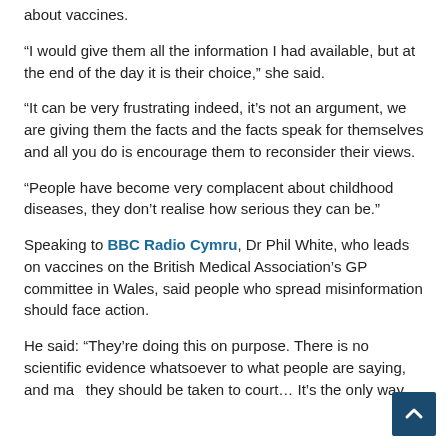about vaccines.
“I would give them all the information I had available, but at the end of the day it is their choice,” she said.
“It can be very frustrating indeed, it’s not an argument, we are giving them the facts and the facts speak for themselves and all you do is encourage them to reconsider their views.
“People have become very complacent about childhood diseases, they don’t realise how serious they can be.”
Speaking to BBC Radio Cymru, Dr Phil White, who leads on vaccines on the British Medical Association’s GP committee in Wales, said people who spread misinformation should face action.
He said: “They’re doing this on purpose. There is no scientific evidence whatsoever to what people are saying, and maybe they should be taken to court… It’s the only way.